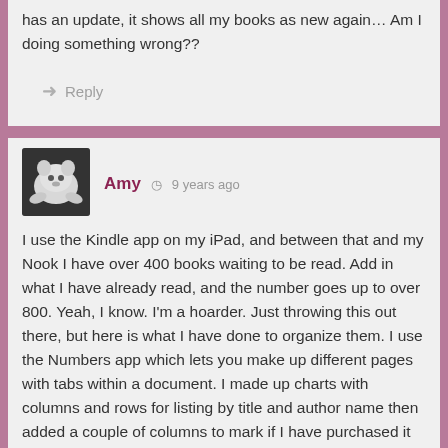has an update, it shows all my books as new again… Am I doing something wrong??
Reply
[Figure (photo): Avatar image of a white stuffed animal toy (possibly a seal or manatee plush)]
Amy  9 years ago
I use the Kindle app on my iPad, and between that and my Nook I have over 400 books waiting to be read. Add in what I have already read, and the number goes up to over 800. Yeah, I know. I'm a hoarder. Just throwing this out there, but here is what I have done to organize them. I use the Numbers app which lets you make up different pages with tabs within a document. I made up charts with columns and rows for listing by title and author name then added a couple of columns to mark if I have purchased it and if I have read it, that way I know if I have purchased the book or just want to purchase it at some point. I organized the books by genre, basic plot, etc., and then I